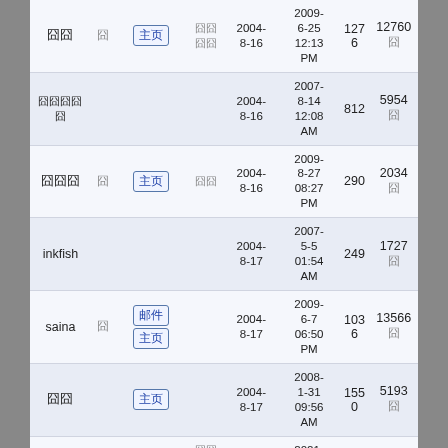| 用户名 |  | 操作 |  | 注册日期 | 最后登录 | 帖子数 | 积分 |
| --- | --- | --- | --- | --- | --- | --- | --- |
| 囧囧 | 囧 | 主页 | 囧囧囧囧 | 2004-8-16 | 2009-6-25 12:13 PM | 1276 | 12760 囧 |
| 囧囧囧囧囧 |  |  |  | 2004-8-16 | 2007-8-14 12:08 AM | 812 | 5954 囧 |
| 囧囧囧 | 囧 | 主页 | 囧囧 | 2004-8-16 | 2009-8-27 08:27 PM | 290 | 2034 囧 |
| inkfish |  |  |  | 2004-8-17 | 2007-5-5 01:54 AM | 249 | 1727 囧 |
| saina | 囧 | 邮件 主页 |  | 2004-8-17 | 2009-6-7 06:50 PM | 1036 | 13566 囧 |
| 囧囧 |  | 主页 |  | 2004-8-17 | 2008-1-31 09:56 AM | 1550 | 5193 囧 |
| crystal | 囧 |  | 囧囧囧 | 2004- | 2021-1-9 | 278 | 1964 |